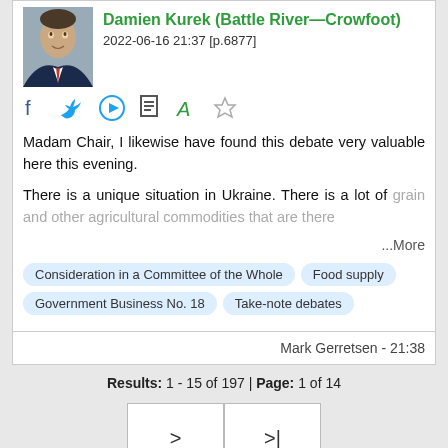Damien Kurek (Battle River—Crowfoot)
2022-06-16 21:37 [p.6877]
[Figure (other): Headshot photo of Damien Kurek]
[Figure (other): Social share icons: Facebook, Twitter, Play, Bookmark, PDF, Star]
Madam Chair, I likewise have found this debate very valuable here this evening.
There is a unique situation in Ukraine. There is a lot of grain and other agricultural commodities that are there
...More
Consideration in a Committee of the Whole
Food supply
Government Business No. 18
Take-note debates
Mark Gerretsen - 21:38
Results: 1 - 15 of 197 | Page: 1 of 14